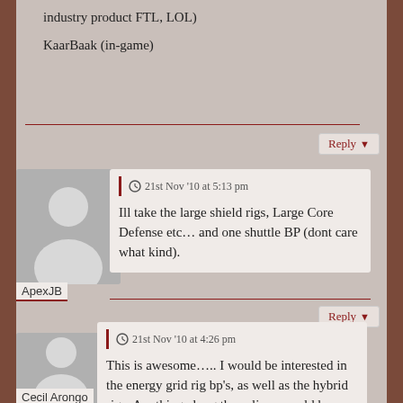industry product FTL, LOL)
KaarBaak (in-game)
21st Nov '10 at 5:13 pm
Ill take the large shield rigs, Large Core Defense etc… and one shuttle BP (dont care what kind).
ApexJB
21st Nov '10 at 4:26 pm
This is awesome….. I would be interested in the energy grid rig bp's, as well as the hybrid rigs. Anything along those lines would be appreciated!
Cecil Arongo